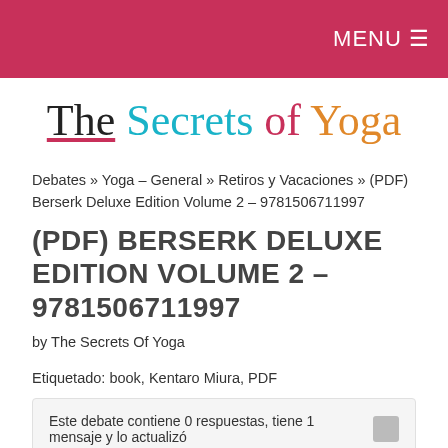MENU ☰
The Secrets of Yoga
Debates » Yoga – General » Retiros y Vacaciones » (PDF) Berserk Deluxe Edition Volume 2 – 9781506711997
(PDF) BERSERK DELUXE EDITION VOLUME 2 – 9781506711997
by The Secrets Of Yoga
Etiquetado: book, Kentaro Miura, PDF
Este debate contiene 0 respuestas, tiene 1 mensaje y lo actualizó